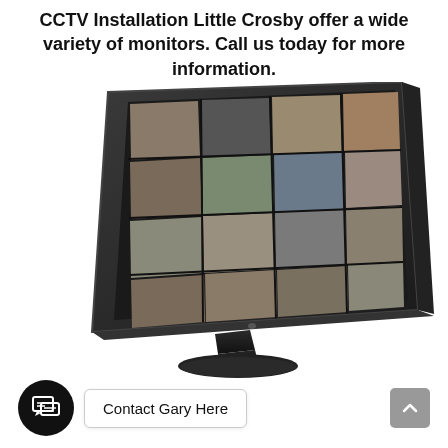CCTV Installation Little Crosby offer a wide variety of monitors. Call us today for more information.
[Figure (photo): A CCTV monitor on a stand displaying a 4x3 grid of warehouse/storage facility camera feeds, viewed from a slight angle.]
Contact Gary Here